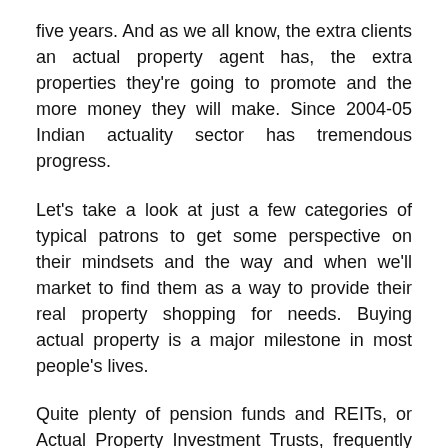five years. And as we all know, the extra clients an actual property agent has, the extra properties they're going to promote and the more money they will make. Since 2004-05 Indian actuality sector has tremendous progress.
Let's take a look at just a few categories of typical patrons to get some perspective on their mindsets and the way and when we'll market to find them as a way to provide their real property shopping for needs. Buying actual property is a major milestone in most people's lives.
Quite plenty of pension funds and REITs, or Actual Property Investment Trusts, frequently buy land or actual property with zero leverage thereby minimizing their dangers, however capping their Return-On-Funding (ROI) as a result. They are also known to site the real estate